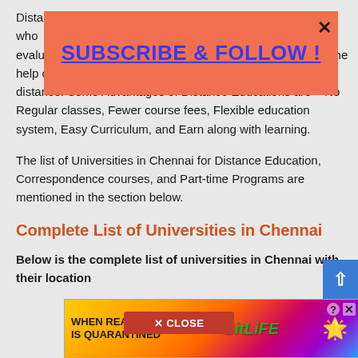Distance education is a method of learning for students who ... evaluate, debate, and continue their college education with the help of distance learning despite the barriers of time and distance. Some Advantages of Distance Educations are – No Regular classes, Fewer course fees, Flexible education system, Easy Curriculum, and Earn along with learning.
The list of Universities in Chennai for Distance Education, Correspondence courses, and Part-time Programs are mentioned in the section below.
Complete List of Universities in Chennai
Below is the complete list of universities in Chennai with their location
[Figure (screenshot): Subscribe & Follow overlay banner in salmon/coral color with blue underlined text 'SUBSCRIBE & FOLLOW !' and a close X button]
[Figure (screenshot): BitLife advertisement banner at the bottom with rainbow gradient background, 'WHEN REAL LIFE IS QUARANTINED' text on left, BitLife logo in center, emoji on right]